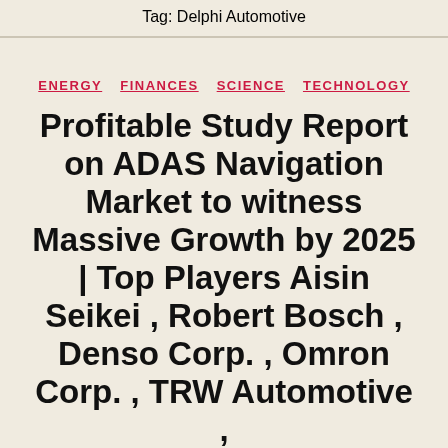Tag: Delphi Automotive
ENERGY  FINANCES  SCIENCE  TECHNOLOGY
Profitable Study Report on ADAS Navigation Market to witness Massive Growth by 2025 | Top Players Aisin Seikei , Robert Bosch , Denso Corp. , Omron Corp. , TRW Automotive ,